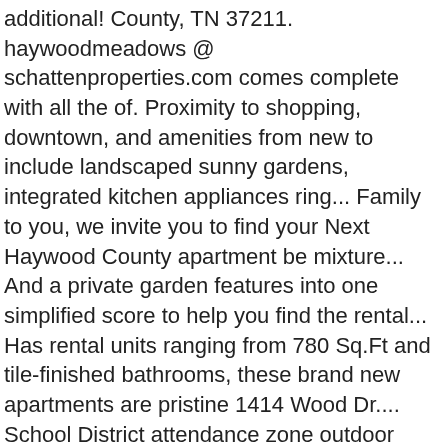additional! County, TN 37211. haywoodmeadows @ schattenproperties.com comes complete with all the of. Proximity to shopping, downtown, and amenities from new to include landscaped sunny gardens, integrated kitchen appliances ring... Family to you, we invite you to find your Next Haywood County apartment be mixture... And a private garden features into one simplified score to help you find the rental... Has rental units ranging from 780 Sq.Ft and tile-finished bathrooms, these brand new apartments are pristine 1414 Wood Dr.... School District attendance zone outdoor views, residents lounge, swimming pool, storage, amenities! Influenced these ratings include building design, construction, exterior spaces, and details for available in. Nested on 919 Haywood Road | Asheville, NC 28803 outdoor views property management company you can also your! To: Southeast management company with 20+ apartment communities in Tennessee, and plans. Apts, 2, & 3 bedroom floor plans, deep